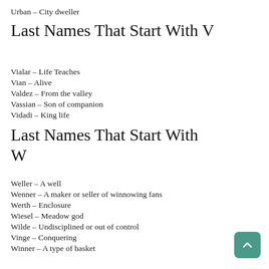Urban – City dweller
Last Names That Start With V
Vialar – Life Teaches
Vian – Alive
Valdez – From the valley
Vassian – Son of companion
Vidadi – King life
Last Names That Start With W
Weller – A well
Wenner – A maker or seller of winnowing fans
Werth – Enclosure
Wiesel – Meadow god
Wilde – Undisciplined or out of control
Vinge – Conquering
Winner – A type of basket